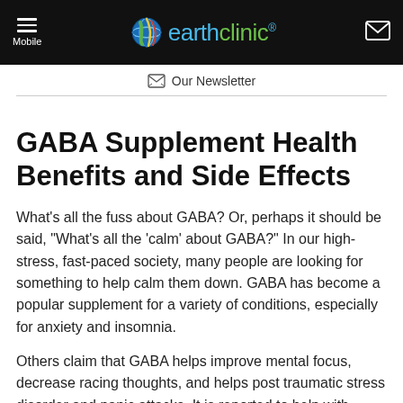earthclinic® — Mobile — Our Newsletter
GABA Supplement Health Benefits and Side Effects
What's all the fuss about GABA? Or, perhaps it should be said, "What's all the 'calm' about GABA?" In our high-stress, fast-paced society, many people are looking for something to help calm them down. GABA has become a popular supplement for a variety of conditions, especially for anxiety and insomnia.
Others claim that GABA helps improve mental focus, decrease racing thoughts, and helps post traumatic stress disorder and panic attacks. It is reported to help with fibromyalgia, pre-menstrual tension, irritability, adrenal…